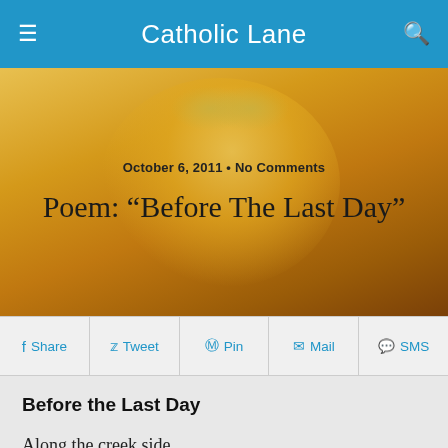Catholic Lane
[Figure (illustration): Hero image with golden/orange toned illustrated face in background, overlaid with article date and title]
October 6, 2011 • No Comments
Poem: “Before The Last Day”
Share | Tweet | Pin | Mail | SMS
Before the Last Day
Along the creek side
Where the trail descends, before the riffles
Seethe among the great round stones
Gray knucklebones
A brown Arabian